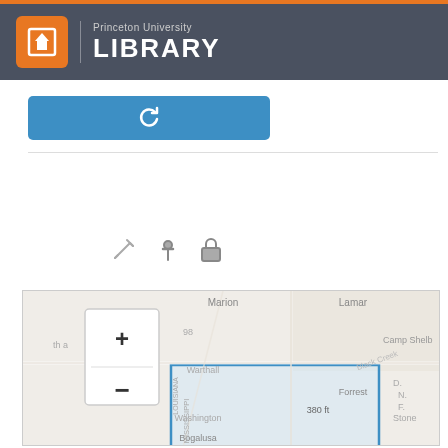Princeton University LIBRARY
[Figure (screenshot): Blue button with a reset/undo circular arrow icon]
[Figure (screenshot): Map interface showing Mississippi, Louisiana, and surrounding areas with zoom controls and a blue selection rectangle. Location names include Marion, Lamar, Camp Shelby, Warthall, Forrest, Washington, Bogalusa, Stone. A blue bounding box is drawn over a portion of the map showing 380 ft scale.]